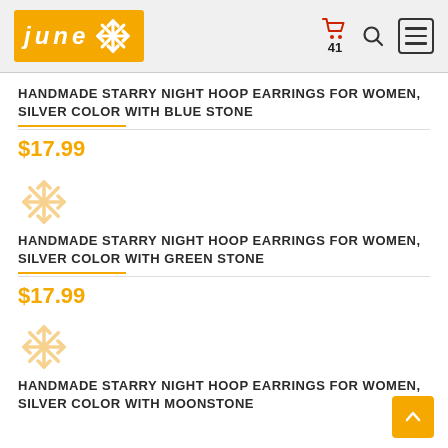[Figure (logo): June store logo: orange rectangle with white italic lowercase 'june' text and a snowflake/asterisk symbol]
41
HANDMADE STARRY NIGHT HOOP EARRINGS FOR WOMEN, SILVER COLOR WITH BLUE STONE
$17.99
[Figure (illustration): Light orange snowflake / asterisk decorative icon]
HANDMADE STARRY NIGHT HOOP EARRINGS FOR WOMEN, SILVER COLOR WITH GREEN STONE
$17.99
[Figure (illustration): Light orange snowflake / asterisk decorative icon]
HANDMADE STARRY NIGHT HOOP EARRINGS FOR WOMEN, SILVER COLOR WITH MOONSTONE